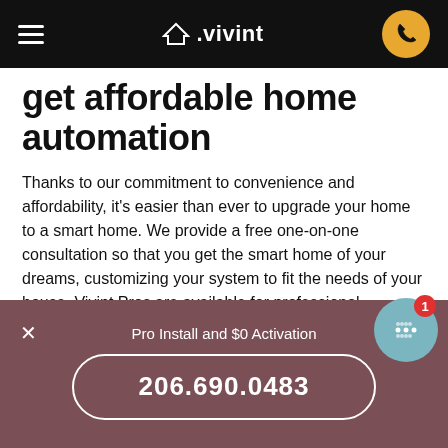≡  △.vivint  ☎
get affordable home automation
Thanks to our commitment to convenience and affordability, it's easier than ever to upgrade your home to a smart home. We provide a free one-on-one consultation so that you get the smart home of your dreams, customizing your system to fit the needs of your house. Vivint Pros are available for professional installation for Kirkland residents, so you can enjoy the safety and security of this remarkable smart home system right away. You can get the best smart home technology right now. Isn't it time you took advantage of the many benefits of
Pro Install and $0 Activation
206.690.0483